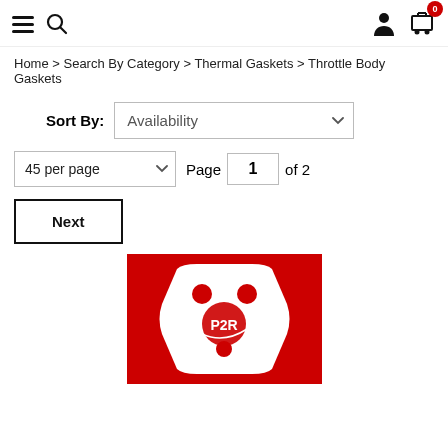Navigation bar with menu, search, account, and cart icons (cart count: 0)
Home > Search By Category > Thermal Gaskets > Throttle Body Gaskets
Sort By: Availability
45 per page   Page 1 of 2
Next
[Figure (photo): Product image on red background showing a white throttle body gasket with a P2R logo]